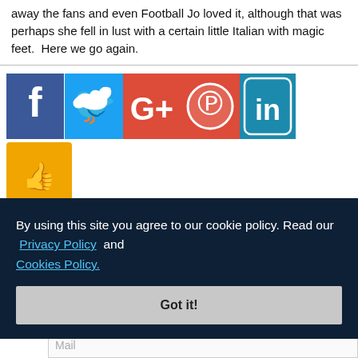away the fans and even Football Jo loved it, although that was perhaps she fell in lust with a certain little Italian with magic feet.  Here we go again.
[Figure (infographic): Social media sharing buttons: Facebook (blue), Twitter (light blue), Google+ (red), Pinterest (red), LinkedIn (teal/blue rounded), and a thumbs-up like button (orange)]
By using this site you agree to our cookie policy. Read our Privacy Policy and Cookies Policy.
Got it!
Mail